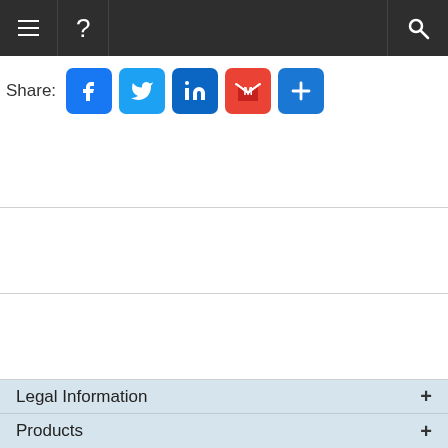Navigation bar with hamburger menu, help icon, and search icon
[Figure (screenshot): Social share bar with buttons: Facebook, Twitter, LinkedIn, Gmail, More (+)]
Legal Information +
Products +